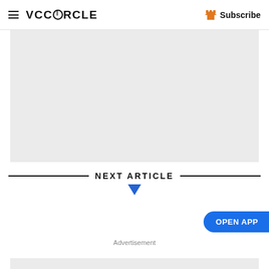VCCiRCLE — Subscribe
[Figure (other): Gray advertisement placeholder block at top of page]
NEXT ARTICLE
[Figure (other): Blue downward triangle/chevron below NEXT ARTICLE heading]
OPEN APP
Advertisement